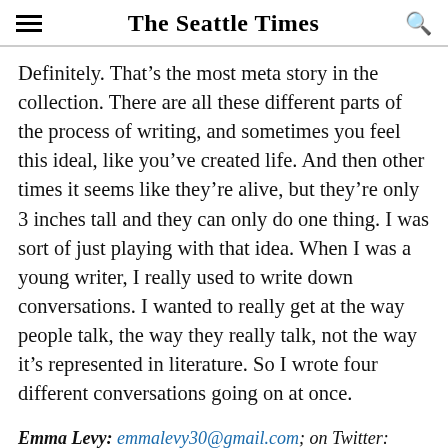The Seattle Times
Definitely. That's the most meta story in the collection. There are all these different parts of the process of writing, and sometimes you feel this ideal, like you've created life. And then other times it seems like they're alive, but they're only 3 inches tall and they can only do one thing. I was sort of just playing with that idea. When I was a young writer, I really used to write down conversations. I wanted to really get at the way people talk, the way they really talk, not the way it's represented in literature. So I wrote four different conversations going on at once.
Emma Levy: emmalevy30@gmail.com; on Twitter: @emmalev_.